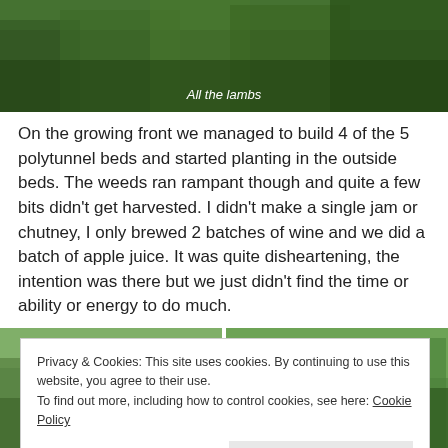[Figure (photo): Photo of grass field with lambs, green grass covering the scene]
All the lambs
On the growing front we managed to build 4 of the 5 polytunnel beds and started planting in the outside beds. The weeds ran rampant though and quite a few bits didn't get harvested. I didn't make a single jam or chutney, I only brewed 2 batches of wine and we did a batch of apple juice. It was quite disheartening, the intention was there but we just didn't find the time or ability or energy to do much.
[Figure (photo): Two side-by-side outdoor garden/nature photos at bottom of page]
Privacy & Cookies: This site uses cookies. By continuing to use this website, you agree to their use.
To find out more, including how to control cookies, see here: Cookie Policy
Close and accept